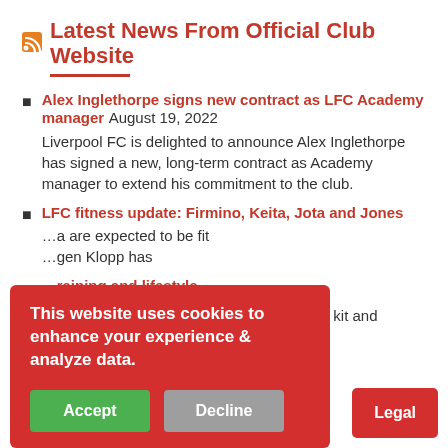Latest News From Official Club Website
Alex Inglethorpe signs new contract as LFC Academy manager August 19, 2022 Liverpool FC is delighted to announce Alex Inglethorpe has signed a new, long-term contract as Academy manager to extend his commitment to the club.
LFC fitness update: Firmino, Keita, Jota and Jones … are expected to be fit … gen Klopp has
… training and lifestyle …
Liverpool FC's new Nike away kit, training kit and
This website uses cookies to enhance your experience & analyze data.
Accept
Decline
Legal